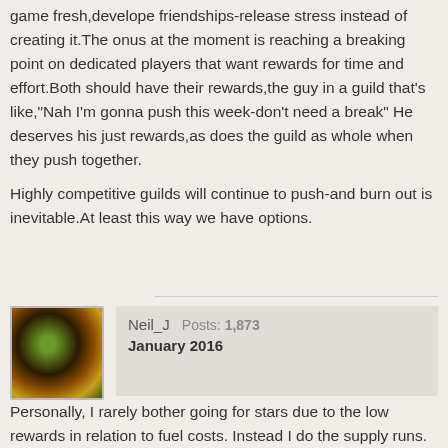game fresh,develope friendships-release stress instead of creating it.The onus at the moment is reaching a breaking point on dedicated players that want rewards for time and effort.Both should have their rewards,the guy in a guild that's like,"Nah I'm gonna push this week-don't need a break" He deserves his just rewards,as does the guild as whole when they push together.

Highly competitive guilds will continue to push-and burn out is inevitable.At least this way we have options.
[Figure (photo): User avatar showing a colorful circular image with green, brown, and yellow tones, resembling a face or abstract design]
Neil_J  Posts: 1,873
January 2016
Personally, I rarely bother going for stars due to the low rewards in relation to fuel costs. Instead I do the supply runs.
On 412 deadlies now so chasing 500 for the gold